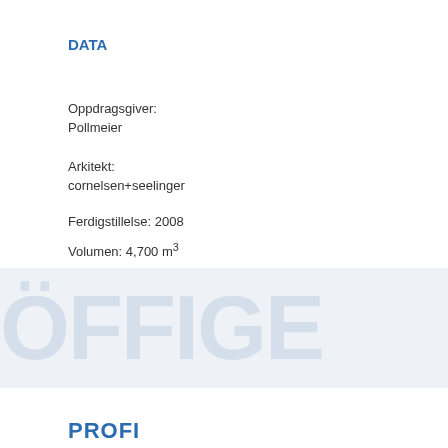DATA
Oppdragsgiver:
Pollmeier
Arkitekt:
cornelsen+seelinger
Ferdigstillelse: 2008
Volumen: 4,700 m³
Tjenester:
Byggeteknisk prosjektering
[Figure (other): Watermark / background decorative text in light blue-grey, partially visible large letters forming a word, displayed across a light blue-grey band]
PROFI